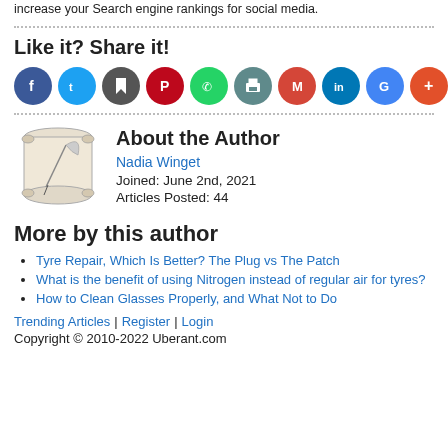increase your Search engine rankings for social media.
Like it? Share it!
[Figure (infographic): Row of social sharing icon buttons: Facebook (blue), Twitter (light blue), share/bookmark (dark gray), Pinterest (red), WhatsApp (green), print (gray-teal), Gmail (red), LinkedIn (teal), Google (dark blue-gray), plus/more (orange-red)]
[Figure (illustration): Decorative scroll with quill pen illustration representing author/writing]
About the Author
Nadia Winget
Joined: June 2nd, 2021
Articles Posted: 44
More by this author
Tyre Repair, Which Is Better? The Plug vs The Patch
What is the benefit of using Nitrogen instead of regular air for tyres?
How to Clean Glasses Properly, and What Not to Do
Trending Articles | Register | Login
Copyright © 2010-2022 Uberant.com